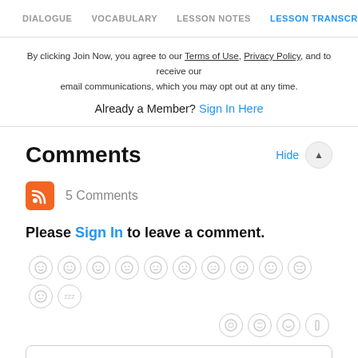DIALOGUE  VOCABULARY  LESSON NOTES  LESSON TRANSCRIPT  C
By clicking Join Now, you agree to our Terms of Use, Privacy Policy, and to receive our email communications, which you may opt out at any time.
Already a Member? Sign In Here
Comments
5 Comments
Please Sign In to leave a comment.
[Figure (other): Row of emoji/reaction icons in light gray]
Write a comment...